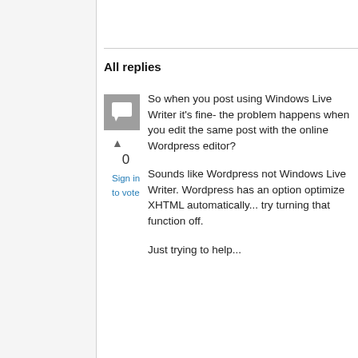All replies
[Figure (illustration): Gray square avatar icon with a speech bubble chat icon inside]
▲
0
Sign in to vote
So when you post using Windows Live Writer it's fine- the problem happens when you edit the same post with the online Wordpress editor?
Sounds like Wordpress not Windows Live Writer. Wordpress has an option optimize XHTML automatically... try turning that function off.
Just trying to help...